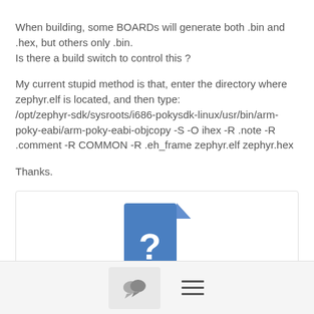When building, some BOARDs will generate both .bin and .hex, but others only .bin.
Is there a build switch to control this ?
My current stupid method is that, enter the directory where zephyr.elf is located, and then type:
/opt/zephyr-sdk/sysroots/i686-pokysdk-linux/usr/bin/arm-poky-eabi/arm-poky-eabi-objcopy -S -O ihex -R .note -R .comment -R COMMON -R .eh_frame zephyr.elf zephyr.hex
Thanks.
[Figure (other): File attachment box with a blue document icon with a question mark, and a link labeled 'attachment.html']
[Figure (other): Bottom navigation bar with a chat bubble icon button and a hamburger menu icon]